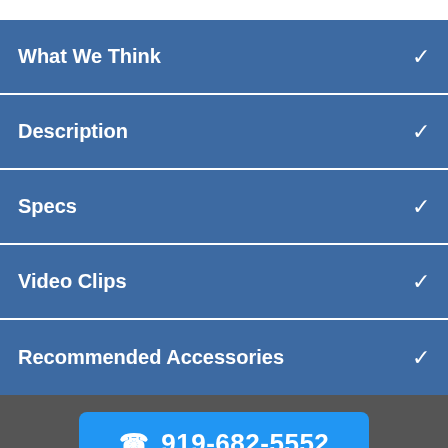What We Think
Description
Specs
Video Clips
Recommended Accessories
919-682-5552
ABOUT
SOUND PURE DIFFERENCE